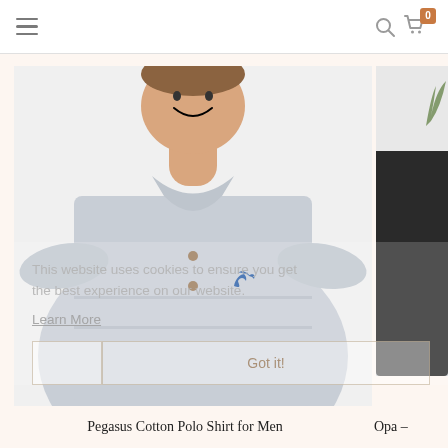Navigation header with hamburger menu, search icon, and cart icon with badge showing 0
[Figure (photo): Man wearing a light gray Pegasus Cotton Polo Shirt with a small blue pegasus logo on the chest, smiling, white background]
[Figure (photo): Partially visible product photo showing a person in a black garment against a light background]
This website uses cookies to ensure you get the best experience on our website.
Learn More
Got it!
Pegasus Cotton Polo Shirt for Men
Opa -